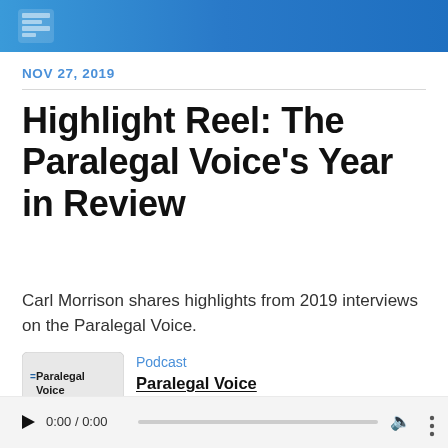[Figure (logo): Legal Talk Network logo icon in white on blue bar]
NOV 27, 2019
Highlight Reel: The Paralegal Voice's Year in Review
Carl Morrison shares highlights from 2019 interviews on the Paralegal Voice.
[Figure (logo): The Paralegal Voice podcast cover art — text 'The Paralegal Voice' with Legal Talk Network branding at bottom]
Podcast
Paralegal Voice
[Figure (other): Audio player bar showing 0:00 / 0:00 with play button, progress bar, volume icon, and more options icon]